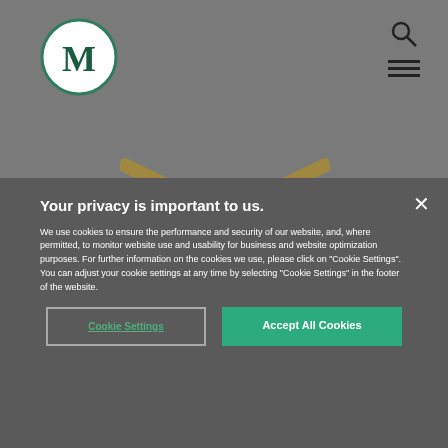[Figure (logo): Circular logo with letter M in dark green on white background]
[Figure (illustration): Gold downward-pointing chevron/arrow above a book cover showing 'The LEGAL...' text on black background]
Your privacy is important to us.
We use cookies to ensure the performance and security of our website, and, where permitted, to monitor website use and usability for business and website optimization purposes. For further information on the cookies we use, please click on "Cookie Settings". You can adjust your cookie settings at any time by selecting "Cookie Settings" in the footer of the website.
Cookie Settings
Accept All Cookies